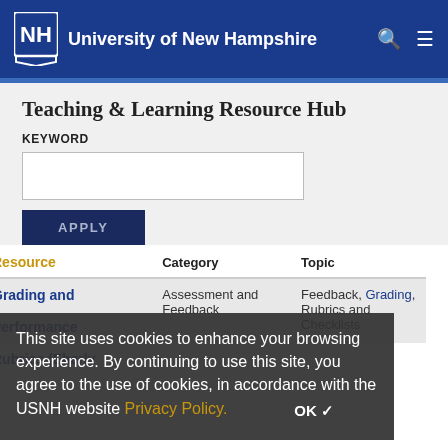University of New Hampshire
Teaching & Learning Resource Hub
KEYWORD
APPLY
This site uses cookies to enhance your browsing experience. By continuing to use this site, you agree to the use of cookies, in accordance with the USNH website Privacy Policy.
| Resource | Category | Topic |
| --- | --- | --- |
| Grading and Performance | Assessment and Feedback | Feedback, Grading, Rubrics and Checklists |
| Rubrics (Eberly |  |  |